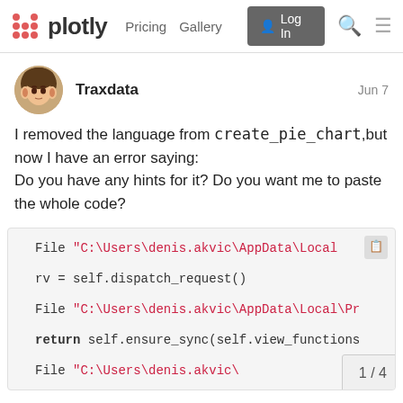plotly  Pricing  Gallery  Log In
Traxdata  Jun 7
I removed the language from create_pie_chart,but now I have an error saying:
Do you have any hints for it? Do you want me to paste the whole code?
File "C:\Users\denis.akvic\AppData\Local\
rv = self.dispatch_request()
File "C:\Users\denis.akvic\AppData\Local\Pr
return self.ensure_sync(self.view_functions
File "C:\Users\denis.akvic\
1 / 4